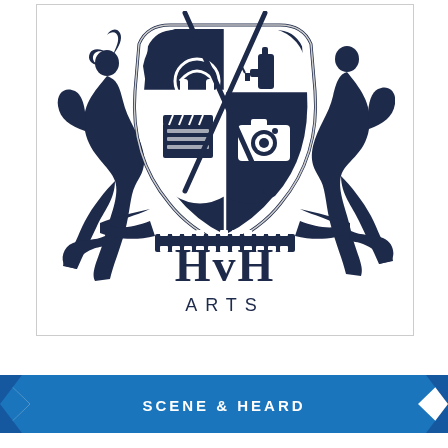[Figure (logo): HvH Arts crest logo with shield divided into four quadrants containing headphones, spray bottle, film clapperboard, and camera. Two dancing human silhouettes flank the shield. Below the shield are the letters 'HvH' in large serif font and 'ARTS' in spaced capitals. Film strip decorations at the bottom of the shield.]
SCENE & HEARD